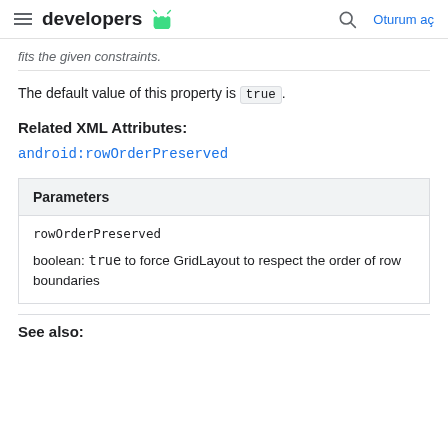developers [android logo] | [search icon] Oturum aç
fits the given constraints.
The default value of this property is true.
Related XML Attributes:
android:rowOrderPreserved
| Parameters |
| --- |
| rowOrderPreserved |
| boolean: true to force GridLayout to respect the order of row boundaries |
See also: